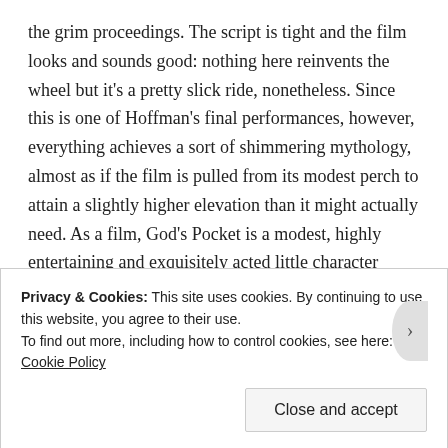the grim proceedings. The script is tight and the film looks and sounds good: nothing here reinvents the wheel but it's a pretty slick ride, nonetheless. Since this is one of Hoffman's final performances, however, everything achieves a sort of shimmering mythology, almost as if the film is pulled from its modest perch to attain a slightly higher elevation than it might actually need. As a film, God's Pocket is a modest, highly entertaining and exquisitely acted little character drama that throws a lot of elements at the wall, many of which stick. As a Philip Seymour Hoffman vehicle, however, it's yet one more example of he'll be so sorely missed.
Privacy & Cookies: This site uses cookies. By continuing to use this website, you agree to their use.
To find out more, including how to control cookies, see here: Cookie Policy
Close and accept